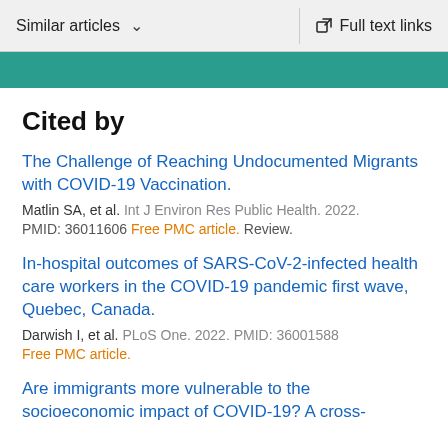Similar articles   Full text links
Cited by
The Challenge of Reaching Undocumented Migrants with COVID-19 Vaccination.
Matlin SA, et al. Int J Environ Res Public Health. 2022.
PMID: 36011606 Free PMC article. Review.
In-hospital outcomes of SARS-CoV-2-infected health care workers in the COVID-19 pandemic first wave, Quebec, Canada.
Darwish I, et al. PLoS One. 2022. PMID: 36001588
Free PMC article.
Are immigrants more vulnerable to the socioeconomic impact of COVID-19? A cross-